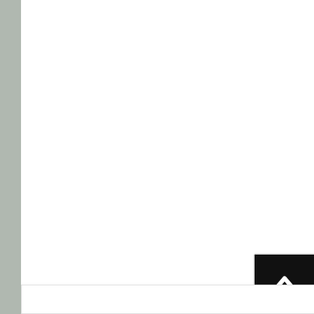this became a competition of who can insult the most?
Reply